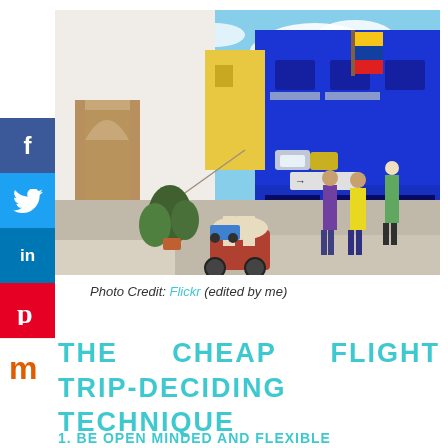[Figure (photo): Street scene in Cartagena, Colombia with colorful buildings – white building with ornate doorway on left, bright blue building on right, horse-drawn carriage in foreground, people walking, blue sky with clouds]
Photo Credit: Flickr (edited by me)
THE CHEAP FLIGHT TRIP-DECIDING TECHNIQUE
1. BE OPEN MINDED AND FLEXIBLE